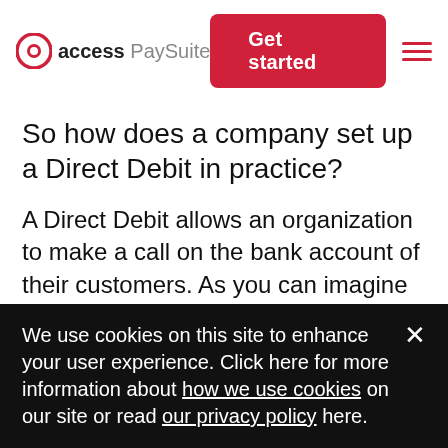access PaySuite — Get started
So how does a company set up a Direct Debit in practice?
A Direct Debit allows an organization to make a call on the bank account of their customers. As you can imagine this could be a recipe for disaster if there weren't strict rules in place.
We use cookies on this site to enhance your user experience. Click here for more information about how we use cookies on our site or read our privacy policy here.